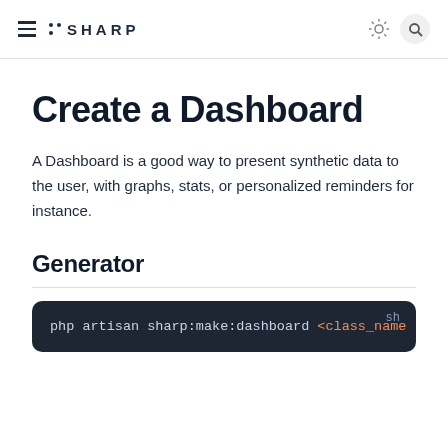≡  ✦SHARP  ☀  🔍
Create a Dashboard
A Dashboard is a good way to present synthetic data to the user, with graphs, stats, or personalized reminders for instance.
Generator
php artisan sharp:make:dashboard <class_name>